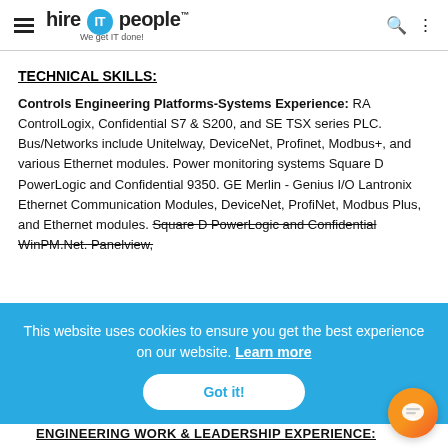hire IT people — We get IT done!
TECHNICAL SKILLS:
Controls Engineering Platforms-Systems Experience: RA ControlLogix, Confidential S7 & S200, and SE TSX series PLC. Bus/Networks include Unitelway, DeviceNet, Profinet, Modbus+, and various Ethernet modules. Power monitoring systems Square D PowerLogic and Confidential 9350. GE Merlin - Genius I/O Lantronix Ethernet Communication Modules, DeviceNet, ProfiNet, Modbus Plus, and Ethernet modules. Square D PowerLogic and Confidential WinPM.Net. Panelview,
This website uses cookies to ensure you get the best experience on our website. Learn more
Got it!
ENGINEERING WORK & LEADERSHIP EXPERIENCE: